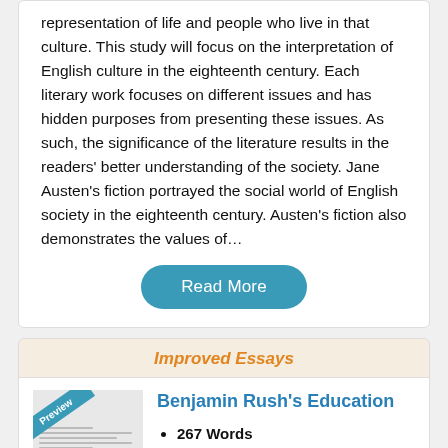representation of life and people who live in that culture. This study will focus on the interpretation of English culture in the eighteenth century. Each literary work focuses on different issues and has hidden purposes from presenting these issues. As such, the significance of the literature results in the readers' better understanding of the society. Jane Austen's fiction portrayed the social world of English society in the eighteenth century. Austen's fiction also demonstrates the values of…
Read More
Improved Essays
Benjamin Rush's Education
267 Words
2 Pages